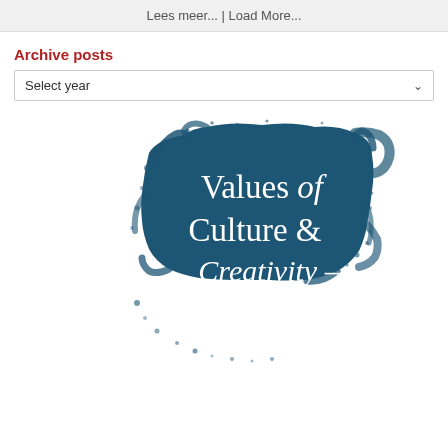Lees meer... | Load More...
Archive posts
Select year
[Figure (illustration): Paintbrush splash logo in dark teal/navy with white serif text reading 'Values of Culture & Creativity']